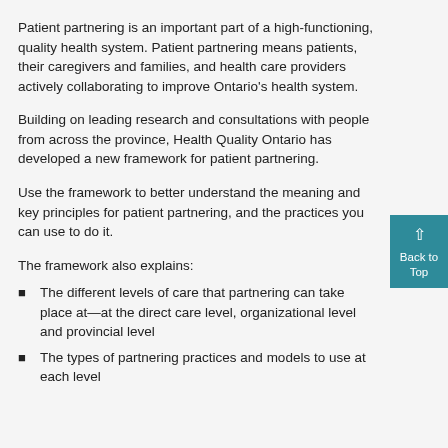Patient partnering is an important part of a high-functioning, quality health system. Patient partnering means patients, their caregivers and families, and health care providers actively collaborating to improve Ontario's health system.
Building on leading research and consultations with people from across the province, Health Quality Ontario has developed a new framework for patient partnering.
Use the framework to better understand the meaning and key principles for patient partnering, and the practices you can use to do it.
The framework also explains:
The different levels of care that partnering can take place at—at the direct care level, organizational level and provincial level
The types of partnering practices and models to use at each level